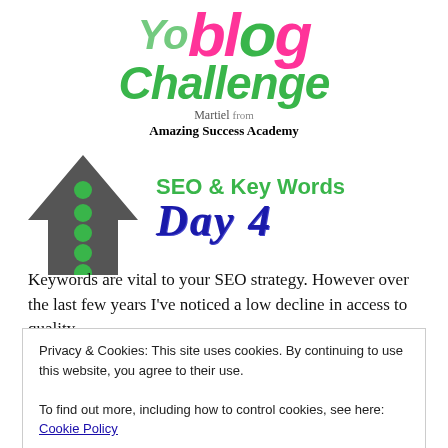[Figure (logo): Blog Challenge logo with pink 'blog' text, green 'Challenge' text, upward arrow with green circles, 'SEO & Key Words Day 4' text, and byline 'Martiel from Amazing Success Academy']
Keywords are vital to your SEO strategy. However over the last few years I've noticed a low decline in access to quality
Privacy & Cookies: This site uses cookies. By continuing to use this website, you agree to their use.
To find out more, including how to control cookies, see here: Cookie Policy
places where you can get keywords without paying but